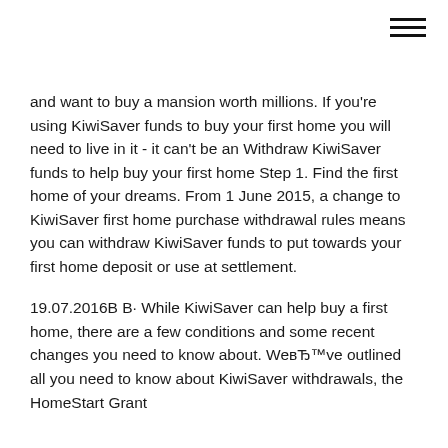[hamburger menu icon]
and want to buy a mansion worth millions. If you're using KiwiSaver funds to buy your first home you will need to live in it - it can't be an Withdraw KiwiSaver funds to help buy your first home Step 1. Find the first home of your dreams. From 1 June 2015, a change to KiwiSaver first home purchase withdrawal rules means you can withdraw KiwiSaver funds to put towards your first home deposit or use at settlement.
19.07.2016В В· While KiwiSaver can help buy a first home, there are a few conditions and some recent changes you need to know about. WeвЂ™ve outlined all you need to know about KiwiSaver withdrawals, the HomeStart Grant